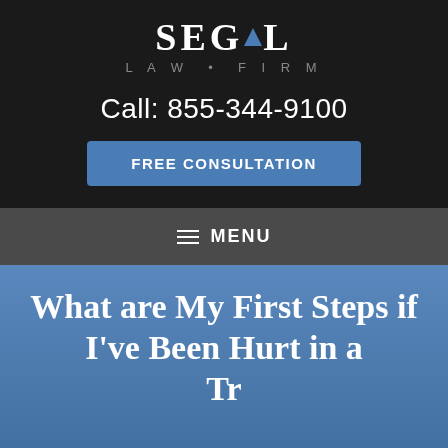[Figure (logo): Segal Law Firm logo — large white serif 'SEGAL' text with a blue triangle accent inside the letter A, and 'LAW • FIRM' in grey spaced letters below]
Call: 855-344-9100
FREE CONSULTATION
≡  MENU
What are My First Steps if I've Been Hurt in a